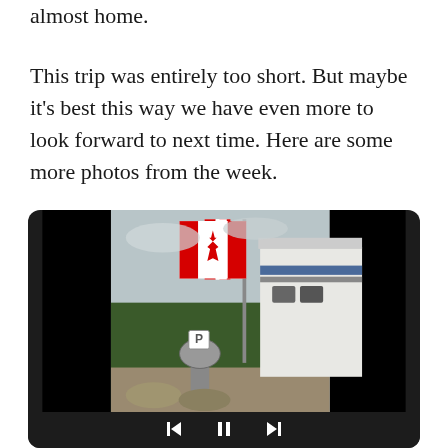almost home.
This trip was entirely too short. But maybe it's best this way we have even more to look forward to next time. Here are some more photos from the week.
[Figure (photo): A Canadian flag flying on a pole with an RV/trailer and trees visible in the background. A parking/satellite dish is visible in the foreground. The photo is displayed in a dark rounded media player frame with playback controls (back, pause, forward) at the bottom.]